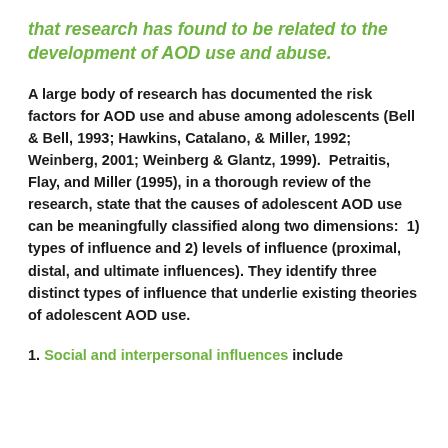that research has found to be related to the development of AOD use and abuse.
A large body of research has documented the risk factors for AOD use and abuse among adolescents (Bell & Bell, 1993; Hawkins, Catalano, & Miller, 1992; Weinberg, 2001; Weinberg & Glantz, 1999).  Petraitis, Flay, and Miller (1995), in a thorough review of the research, state that the causes of adolescent AOD use can be meaningfully classified along two dimensions:  1) types of influence and 2) levels of influence (proximal, distal, and ultimate influences). They identify three distinct types of influence that underlie existing theories of adolescent AOD use.
1. Social and interpersonal influences include